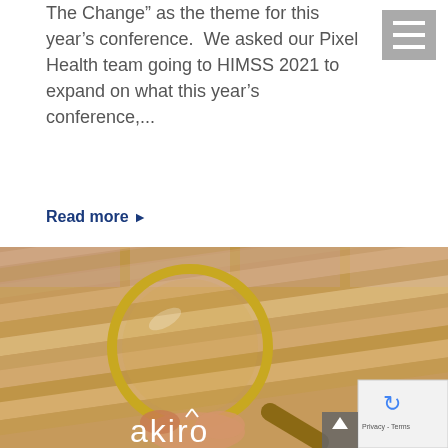The Change" as the theme for this year's conference.  We asked our Pixel Health team going to HIMSS 2021 to expand on what this year's conference,...
Read more ▶
[Figure (photo): A hand holding a brass magnifying glass over a bundle of beige/tan cables or tubes, with pink/purple data server racks visible in the blurred background. The 'akiro' logo text is visible in white at the bottom right.]